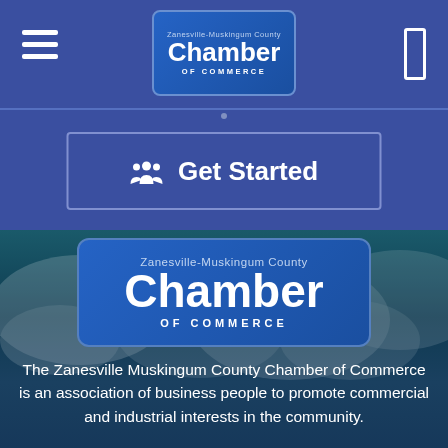Zanesville-Muskingum County Chamber of Commerce
[Figure (logo): Zanesville-Muskingum County Chamber of Commerce logo badge, blue rounded rectangle with white text]
Get Started
[Figure (logo): Large Zanesville-Muskingum County Chamber of Commerce logo badge over teal/dark blue cloudy background]
The Zanesville Muskingum County Chamber of Commerce is an association of business people to promote commercial and industrial interests in the community.